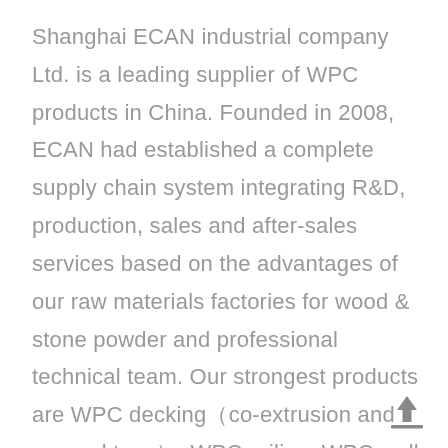Shanghai ECAN industrial company Ltd. is a leading supplier of WPC products in China. Founded in 2008, ECAN had established a complete supply chain system integrating R&D, production, sales and after-sales services based on the advantages of our raw materials factories for wood & stone powder and professional technical team. Our strongest products are WPC decking（co-extrusion and general type）, WPC railing, WPC wall panel and so on.